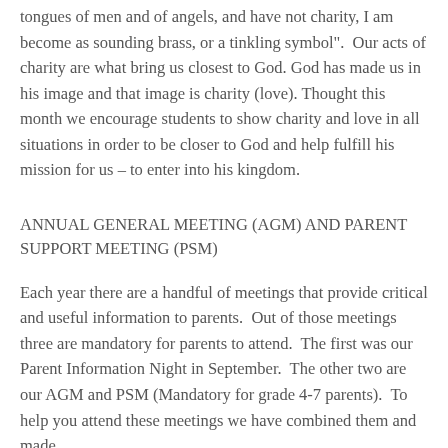tongues of men and of angels, and have not charity, I am become as sounding brass, or a tinkling symbol".  Our acts of charity are what bring us closest to God.  God has made us in his image and that image is charity (love).  Thought this month we encourage students to show charity and love in all situations in order to be closer to God and help fulfill his mission for us – to enter into his kingdom.
ANNUAL GENERAL MEETING (AGM) AND PARENT SUPPORT MEETING (PSM)
Each year there are a handful of meetings that provide critical and useful information to parents.  Out of those meetings three are mandatory for parents to attend.  The first was our Parent Information Night in September.  The other two are our AGM and PSM (Mandatory for grade 4-7 parents).  To help you attend these meetings we have combined them and made